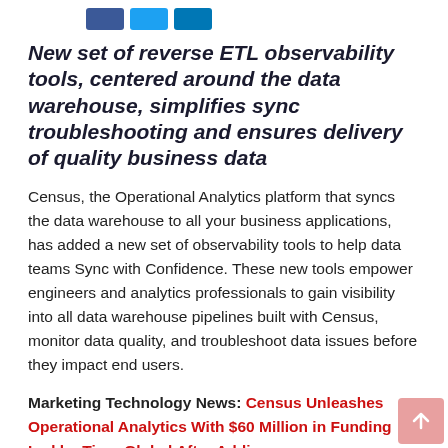[social share icons: Facebook, Twitter, LinkedIn]
New set of reverse ETL observability tools, centered around the data warehouse, simplifies sync troubleshooting and ensures delivery of quality business data
Census, the Operational Analytics platform that syncs the data warehouse to all your business applications, has added a new set of observability tools to help data teams Sync with Confidence. These new tools empower engineers and analytics professionals to gain visibility into all data warehouse pipelines built with Census, monitor data quality, and troubleshoot data issues before they impact end users.
Marketing Technology News: Census Unleashes Operational Analytics With $60 Million in Funding Led by Tiger Global After Adding...
Business operations teams constantly work to make